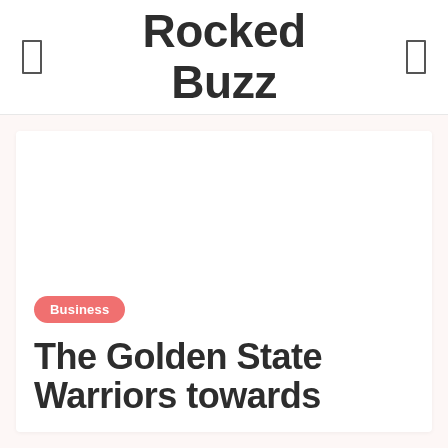Rocked Buzz
Business
The Golden State Warriors towards